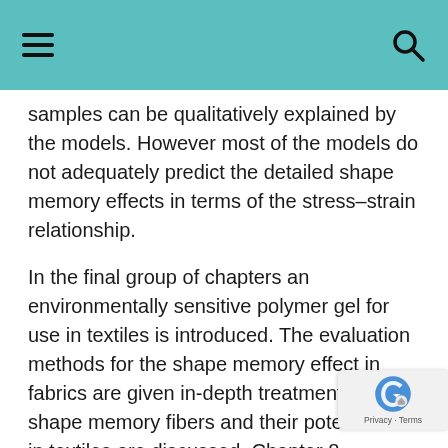samples can be qualitatively explained by the models. However most of the models do not adequately predict the detailed shape memory effects in terms of the stress–strain relationship.
In the final group of chapters an environmentally sensitive polymer gel for use in textiles is introduced. The evaluation methods for the shape memory effect in fabrics are given in-depth treatment. Then, shape memory fibers and their potential use in textiles are discussed. Chapter 8 describes a new type of polymer network which is partly